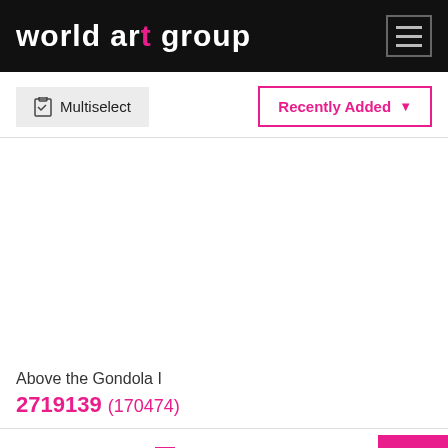world art group
Multiselect
Recently Added
Above the Gondola I
2719139 (170474)
[Figure (screenshot): Broken image placeholder labeled 'By the Bay I']
By the Bay I